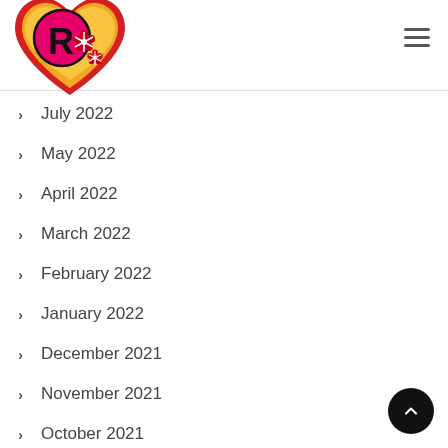[Figure (logo): Heart-shaped logo with orange/yellow heart, red border, pink letter R, and red decorative flowers]
July 2022
May 2022
April 2022
March 2022
February 2022
January 2022
December 2021
November 2021
October 2021
September 2021